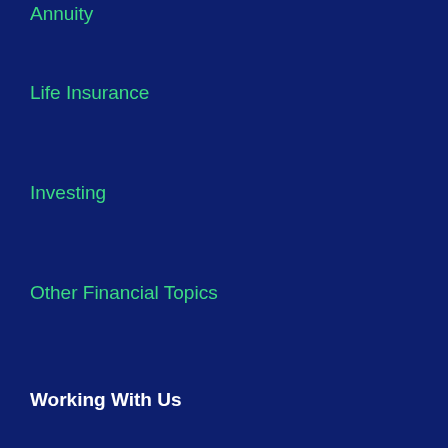Annuity
Life Insurance
Investing
Other Financial Topics
Working With Us
Strategies for Individuals
Strategies for Businesses
Extensive Provider Choices
Share Your Love
Discovery Process
Periodic Review Survey